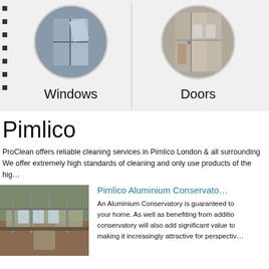[Figure (photo): Circular cropped photo of aluminium windows]
[Figure (photo): Circular cropped photo of bi-fold doors interior]
Windows
Doors
Pimlico
ProClean offers reliable cleaning services in Pimlico London & all surrounding. We offer extremely high standards of cleaning and only use products of the hig…
[Figure (photo): Photo of an aluminium conservatory exterior]
Pimlico Aluminium Conservato…
An Aluminium Conservatory is guaranteed to your home. As well as benefiting from additio conservatory will also add significant value to making it increasingly attractive for perspectiv…